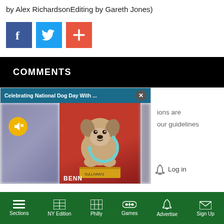by Alex RichardsonEditing by Gareth Jones)
[Figure (other): Social share buttons: Facebook (blue), Twitter (light blue), Plus/Add (red-orange)]
COMMENTS
[Figure (screenshot): Video popup overlay titled 'Celebrating National Dog Day With ...' with an X close button, showing a small dog (terrier) photo against a red background, with a mute button (yellow circle with speaker icon) and a teal ring overlay. Text partially visible to the right: 'ions are' and 'our guidelines'. A bell icon and 'Log in' link visible. Label 'BENN' at bottom.]
Sections  NY Edition  Philly  Games  Advertise  Sign Up